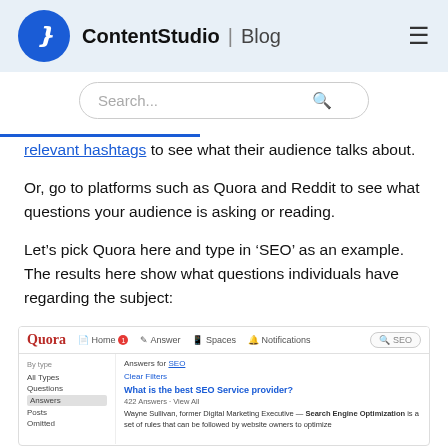ContentStudio | Blog
[Figure (screenshot): Search bar with placeholder text 'Search...' and a search icon, on a white background with rounded border]
relevant hashtags to see what their audience talks about.
Or, go to platforms such as Quora and Reddit to see what questions your audience is asking or reading.
Let’s pick Quora here and type in ‘SEO’ as an example. The results here show what questions individuals have regarding the subject:
[Figure (screenshot): Screenshot of Quora website with search term 'SEO'. Left sidebar shows filter types: All Types, Questions, Answers (selected), Posts, Omitted. Main area shows 'Answers for SEO', 'Clear Filters' link, and a question 'What is the best SEO Service provider?' with 422 answers. Snippet from Wayne Sullivan about Search Engine Optimization.]